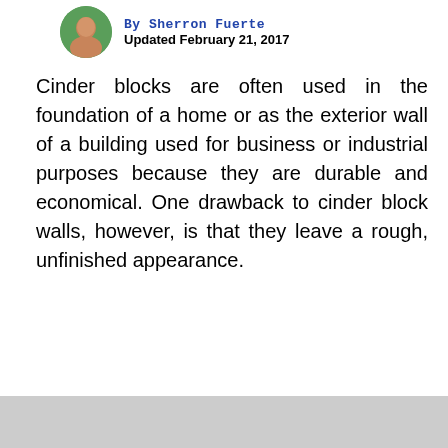Updated February 21, 2017
Cinder blocks are often used in the foundation of a home or as the exterior wall of a building used for business or industrial purposes because they are durable and economical. One drawback to cinder block walls, however, is that they leave a rough, unfinished appearance.